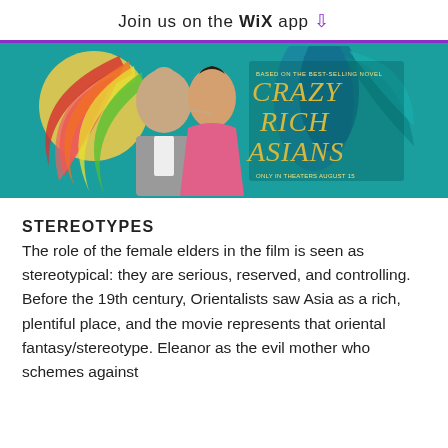Join us on the WiX app
[Figure (photo): Movie poster for Crazy Rich Asians showing a couple embracing with colorful decorative fans. Text reads: BASED ON THE BEST-SELLING NOVEL, CRAZY RICH ASIANS, ONLY IN THEATERS AUGUST 15]
STEREOTYPES
The role of the female elders in the film is seen as stereotypical: they are serious, reserved, and controlling. Before the 19th century, Orientalists saw Asia as a rich, plentiful place, and the movie represents that oriental fantasy/stereotype. Eleanor as the evil mother who schemes against